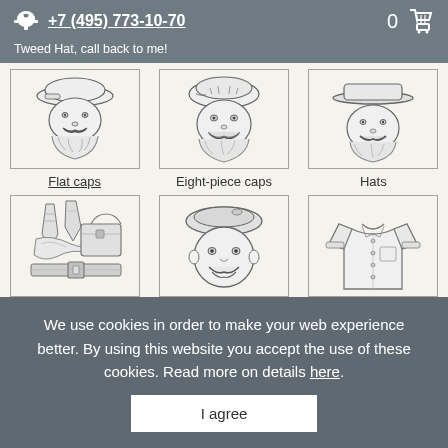+7 (495) 773-10-70
Tweed Hat, call back to me!
[Figure (illustration): Sketch illustration of a bearded man with flat cap]
Flat caps
[Figure (illustration): Sketch illustration of a bearded man with eight-piece cap]
Eight-piece caps
[Figure (illustration): Sketch illustration of a bearded man wearing a hat]
Hats
[Figure (illustration): Sketch illustration of accessories including ties and bag]
[Figure (illustration): Sketch illustration of a man wearing a beret]
[Figure (illustration): Sketch illustration of a shirt]
We use cookies in order to make your web experience better. By using this website you accept the use of these cookies. Read more on details here.
I agree